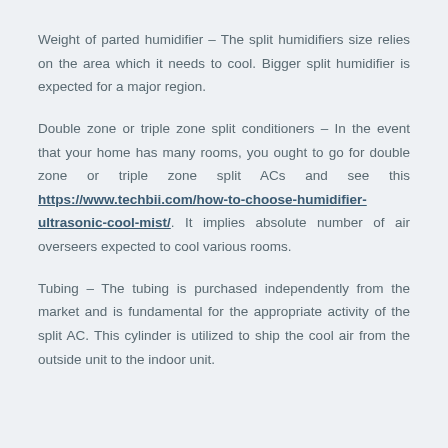Weight of parted humidifier – The split humidifiers size relies on the area which it needs to cool. Bigger split humidifier is expected for a major region.
Double zone or triple zone split conditioners – In the event that your home has many rooms, you ought to go for double zone or triple zone split ACs and see this https://www.techbii.com/how-to-choose-humidifier-ultrasonic-cool-mist/. It implies absolute number of air overseers expected to cool various rooms.
Tubing – The tubing is purchased independently from the market and is fundamental for the appropriate activity of the split AC. This cylinder is utilized to ship the cool air from the outside unit to the indoor unit.